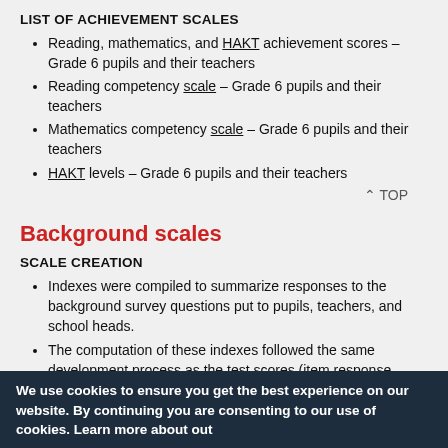LIST OF ACHIEVEMENT SCALES
Reading, mathematics, and HAKT achievement scores – Grade 6 pupils and their teachers
Reading competency scale – Grade 6 pupils and their teachers
Mathematics competency scale – Grade 6 pupils and their teachers
HAKT levels – Grade 6 pupils and their teachers
^ TOP
Background scales
SCALE CREATION
Indexes were compiled to summarize responses to the background survey questions put to pupils, teachers, and school heads.
The computation of these indexes followed the same development process as the test scores (item response theory, the Rasch partial credit model)
To facilitate interpretation of the indexes, results were adjusted to an international scale for which the average is 50 and the
We use cookies to ensure you get the best experience on our website. By continuing you are consenting to our use of cookies. Learn more about out